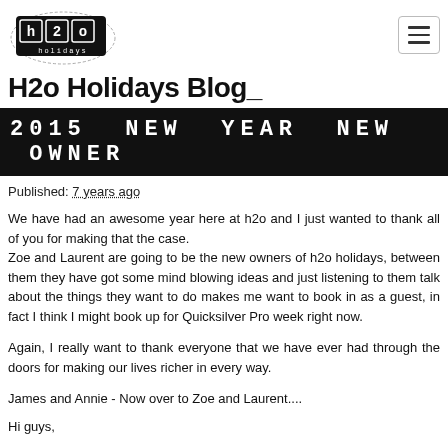[Figure (logo): H2o Holidays logo — stylized stamp-like graphic with letters h, 2, o in black on white background]
H2o Holidays Blog_
2015 NEW YEAR NEW OWNER
Published: 7 years ago
We have had an awesome year here at h2o and I just wanted to thank all of you for making that the case. Zoe and Laurent are going to be the new owners of h2o holidays, between them they have got some mind blowing ideas and just listening to them talk about the things they want to do makes me want to book in as a guest, in fact I think I might book up for Quicksilver Pro week right now.
Again, I really want to thank everyone that we have ever had through the doors for making our lives richer in every way.
James and Annie - Now over to Zoe and Laurent....
Hi guys,